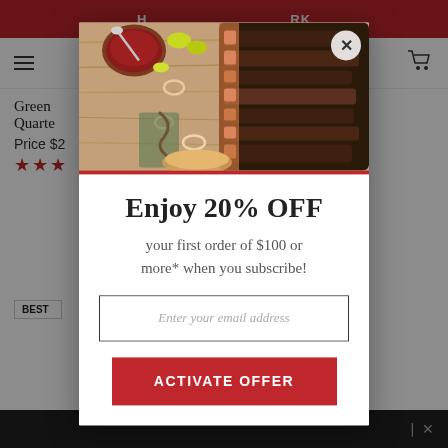H ... RK
[Figure (screenshot): Background website showing product listing page with hamburger menu, cart icon, product names (Green... Boneless Quarte...), price, star ratings, and a best seller badge on a meat product image]
[Figure (photo): Photo of sliced BBQ brisket on a wooden cutting board with sauce bowl, onion rings, yellow peppers, and bread]
Enjoy 20% OFF
your first order of $100 or more* when you subscribe!
Enter your email address
ACTIVATE OFFER